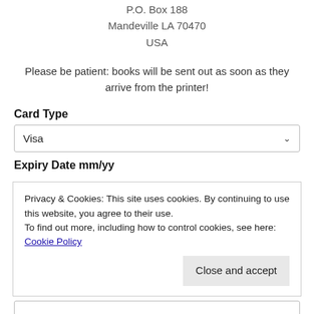P.O. Box 188
Mandeville LA 70470
USA
Please be patient: books will be sent out as soon as they arrive from the printer!
Card Type
Visa
Expiry Date mm/yy
Privacy & Cookies: This site uses cookies. By continuing to use this website, you agree to their use.
To find out more, including how to control cookies, see here: Cookie Policy
Close and accept
Your Comments are Welcome